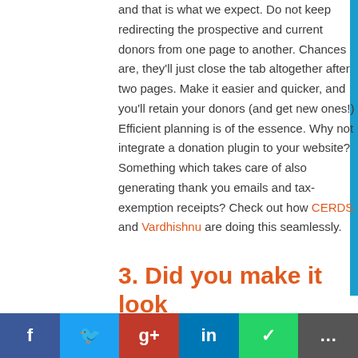and that is what we expect. Do not keep redirecting the prospective and current donors from one page to another. Chances are, they'll just close the tab altogether after two pages. Make it easier and quicker, and you'll retain your donors (and get new ones!) Efficient planning is of the essence. Why not integrate a donation plugin to your website? Something which takes care of also generating thank you emails and tax-exemption receipts? Check out how CERDS and Vardhishnu are doing this seamlessly.
3. Did you make it look personalised?